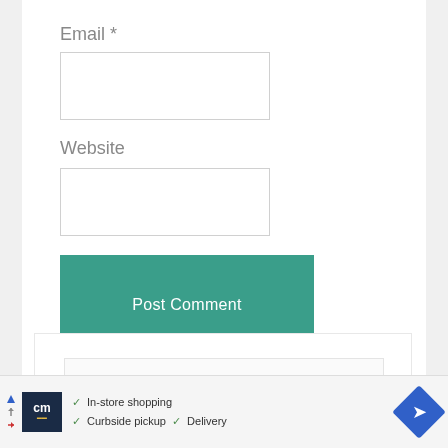Email *
[Figure (screenshot): Email input text field (empty)]
Website
[Figure (screenshot): Website input text field (empty)]
[Figure (screenshot): Post Comment button in teal/green color]
[Figure (screenshot): Advertisement banner showing cm logo with In-store shopping, Curbside pickup, Delivery options and navigation icon]